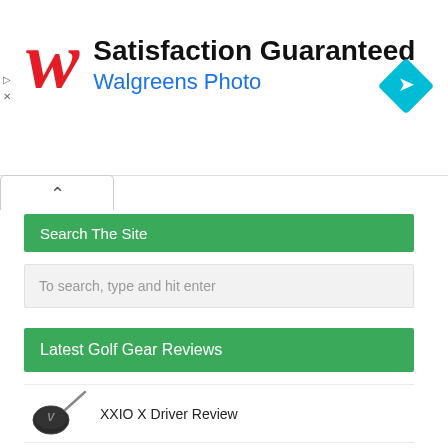[Figure (screenshot): Walgreens Photo advertisement banner with red italic W logo, 'Satisfaction Guaranteed' headline, 'Walgreens Photo' subtitle in blue, and a teal diamond direction icon on the right.]
Search The Site
To search, type and hit enter
Latest Golf Gear Reviews
[Figure (photo): XXIO X golf driver club head, dark metallic finish]
XXIO X Driver Review
TaylorMade TP Patina Juno Putter Review